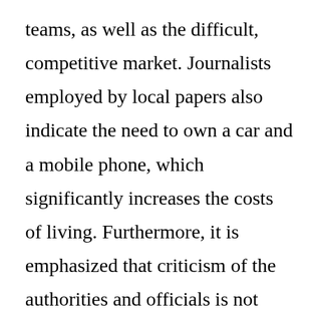teams, as well as the difficult, competitive market. Journalists employed by local papers also indicate the need to own a car and a mobile phone, which significantly increases the costs of living. Furthermore, it is emphasized that criticism of the authorities and officials is not easy: for instance, a deputy mayor of the town, once criticized, avoids contacts. Besides, it is far easier for local interest groups to exert pressure on journalists.